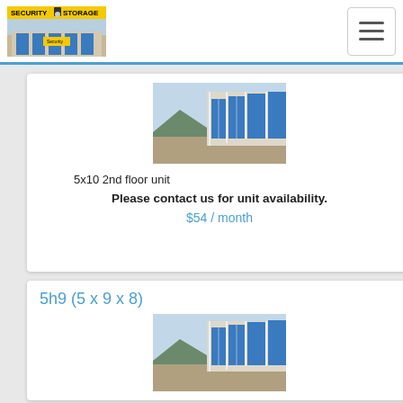Security Storage
[Figure (photo): Row of blue roll-up storage unit doors along a paved corridor with mountains in background]
5x10 2nd floor unit
Please contact us for unit availability.
$54 / month
5h9 (5 x 9 x 8)
[Figure (photo): Row of blue roll-up storage unit doors along a paved corridor with mountains in background]
5x9 unit
Forced air building